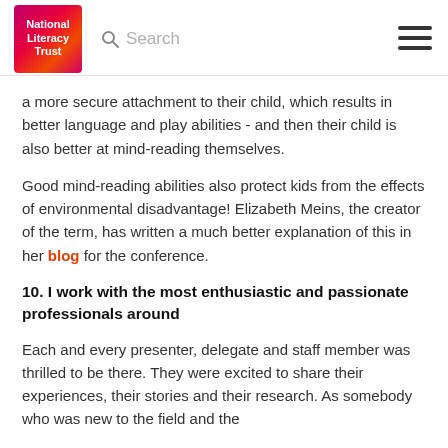National Literacy Trust | Search
a more secure attachment to their child, which results in better language and play abilities - and then their child is also better at mind-reading themselves.
Good mind-reading abilities also protect kids from the effects of environmental disadvantage! Elizabeth Meins, the creator of the term, has written a much better explanation of this in her blog for the conference.
10. I work with the most enthusiastic and passionate professionals around
Each and every presenter, delegate and staff member was thrilled to be there. They were excited to share their experiences, their stories and their research. As somebody who was new to the field and the